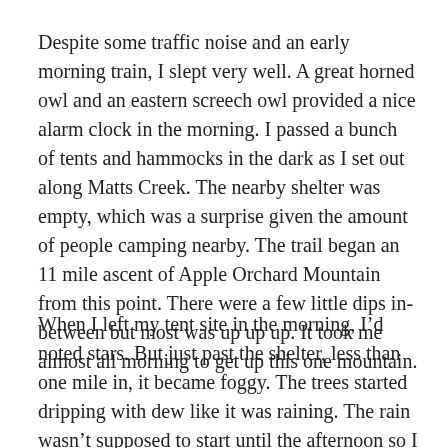Despite some traffic noise and an early morning train, I slept very well. A great horned owl and an eastern screech owl provided a nice alarm clock in the morning. I passed a bunch of tents and hammocks in the dark as I set out along Matts Creek. The nearby shelter was empty, which was a surprise given the amount of people camping nearby. The trail began an 11 mile ascent of Apple Orchard Mountain from this point. There were a few little dips in-between but most was up up up. It took me almost all morning to get up this one mountain.
When I left my tent site in the morning, I’d noted stars. But just past the shelter, less than one mile in, it became foggy. The trees started dripping with dew like it was raining. The rain wasn’t supposed to start until the afternoon so I was a bit confused. Shortly the sky lightened and the fog cleared entirely. The air also